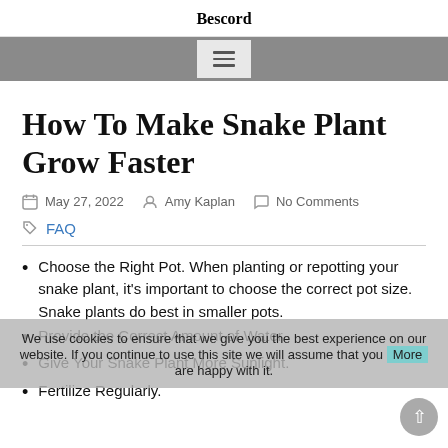Bescord
How To Make Snake Plant Grow Faster
May 27, 2022   Amy Kaplan   No Comments
FAQ
Choose the Right Pot. When planting or repotting your snake plant, it's important to choose the correct pot size. Snake plants do best in smaller pots.
Provide the Correct Amount of Water.
Give Your Snake Plant More Sunlight.
Fertilize Regularly.
We use cookies to ensure that we give you the best experience on our website. If you continue to use this site we will assume that you are happy with it.